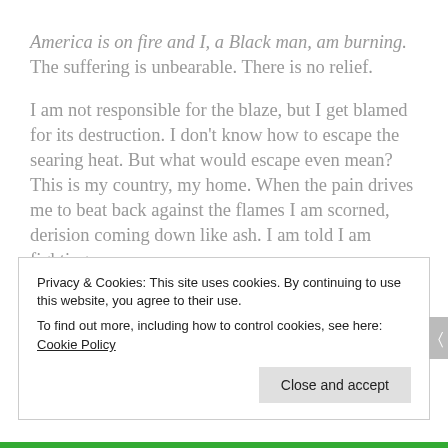America is on fire and I, a Black man, am burning. The suffering is unbearable. There is no relief.
I am not responsible for the blaze, but I get blamed for its destruction. I don't know how to escape the searing heat. But what would escape even mean? This is my country, my home. When the pain drives me to beat back against the flames I am scorned, derision coming down like ash. I am told I am fighting
Privacy & Cookies: This site uses cookies. By continuing to use this website, you agree to their use.
To find out more, including how to control cookies, see here: Cookie Policy
Close and accept